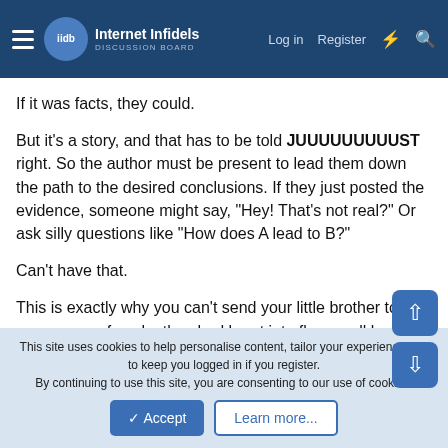Internet Infidels — Log in  Register
If it was facts, they could.
But it's a story, and that has to be told JUUUUUUUUUST right. So the author must be present to lead them down the path to the desired conclusions. If they just posted the evidence, someone might say, "Hey! That's not real?" Or ask silly questions like "How does A lead to B?"
Can't have that.
This is exactly why you can't send your little brother to give your excuse for why the shed burst into flames all by itself while you were doing homework in your room. Because at some point, Dad's going to ask a question and the little snitch will forget to
This site uses cookies to help personalise content, tailor your experience and to keep you logged in if you register.
By continuing to use this site, you are consenting to our use of cookies.